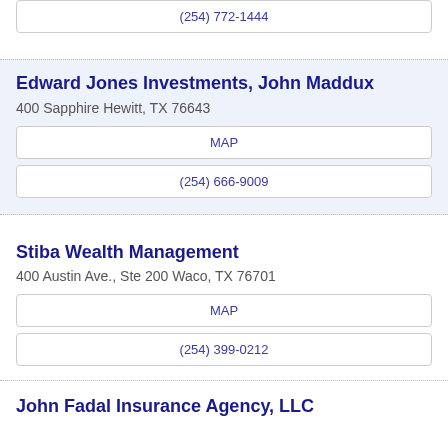(254) 772-1444
Edward Jones Investments, John Maddux
400 Sapphire Hewitt, TX 76643
MAP
(254) 666-9009
Stiba Wealth Management
400 Austin Ave., Ste 200 Waco, TX 76701
MAP
(254) 399-0212
John Fadal Insurance Agency, LLC